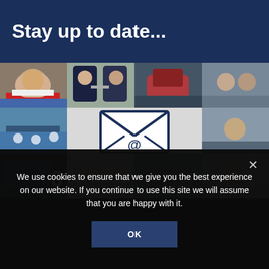Stay up to date...
[Figure (photo): Collage of sports and rowing photos arranged in a grid, with a large email envelope icon in the center]
We use cookies to ensure that we give you the best experience on our website. If you continue to use this site we will assume that you are happy with it.
OK